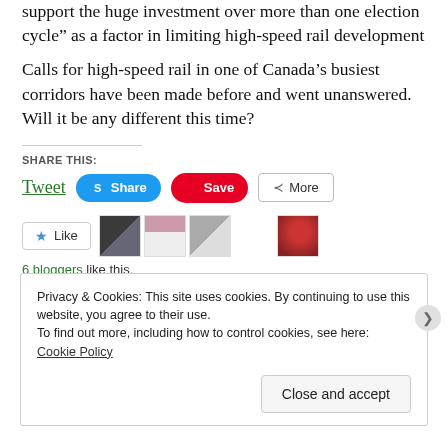support the huge investment over more than one election cycle” as a factor in limiting high-speed rail development
Calls for high-speed rail in one of Canada’s busiest corridors have been made before and went unanswered. Will it be any different this time?
SHARE THIS:
Tweet | Share | Save | More
[Figure (screenshot): Like button and blogger avatars row with '6 bloggers like this.' text]
6 bloggers like this.
Privacy & Cookies: This site uses cookies. By continuing to use this website, you agree to their use.
To find out more, including how to control cookies, see here: Cookie Policy
Close and accept